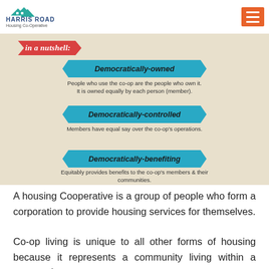Harris Road Housing Co-Operative
[Figure (infographic): Infographic on a beige/tan background explaining co-operatives 'in a nutshell'. A red ribbon banner reads 'in a nutshell:'. Three teal/cyan ribbon banners list: 'Democratically-owned' with text 'People who use the co-op are the people who own it. It is owned equally by each person (member).'; 'Democratically-controlled' with text 'Members have equal say over the co-op's operations.'; 'Democratically-benefiting' with text 'Equitably provides benefits to the co-op's members & their communities.']
A housing Cooperative is a group of people who form a corporation to provide housing services for themselves.
Co-op living is unique to all other forms of housing because it represents a community living within a community.